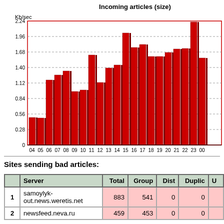[Figure (bar-chart): Incoming articles (size)]
Sites sending bad articles:
|  | Server | Total | Group | Dist | Duplic | U |
| --- | --- | --- | --- | --- | --- | --- |
| 1 | samoylyk-out.news.weretis.net | 883 | 541 | 0 | 0 |  |
| 2 | newsfeed.neva.ru | 459 | 453 | 0 | 0 |  |